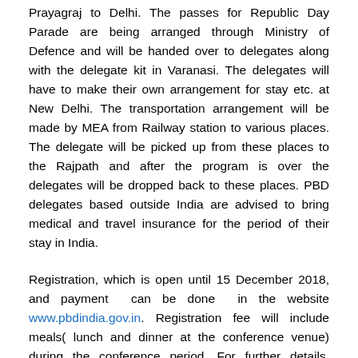Prayagraj to Delhi. The passes for Republic Day Parade are being arranged through Ministry of Defence and will be handed over to delegates along with the delegate kit in Varanasi. The delegates will have to make their own arrangement for stay etc. at New Delhi. The transportation arrangement will be made by MEA from Railway station to various places. The delegate will be picked up from these places to the Rajpath and after the program is over the delegates will be dropped back to these places. PBD delegates based outside India are advised to bring medical and travel insurance for the period of their stay in India.
Registration, which is open until 15 December 2018, and payment can be done in the website www.pbdindia.gov.in. Registration fee will include meals( lunch and dinner at the conference venue) during the conference period. For further details, please visit the website www.pbdindia.gov.in.
The High Commission would arrange to issue appropriate visa to the registered participants.